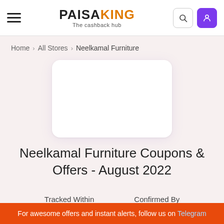PAISAKING The cashback hub
Home > All Stores > Neelkamal Furniture
[Figure (logo): Neelkamal Furniture logo placeholder card]
Neelkamal Furniture Coupons & Offers - August 2022
Tracked Within
Confirmed By
For awesome offers and instant alerts, follow us on Telegram